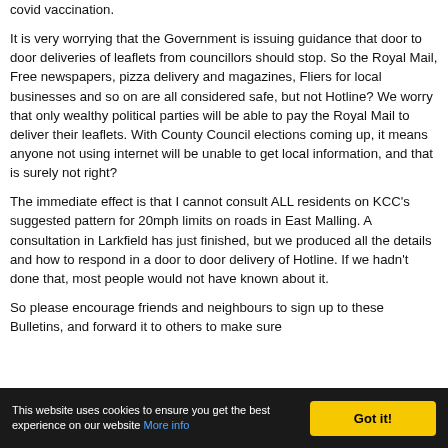covid vaccination.
It is very worrying that the Government is issuing guidance that door to door deliveries of leaflets from councillors should stop. So the Royal Mail, Free newspapers, pizza delivery and magazines, Fliers for local businesses and so on are all considered safe, but not Hotline? We worry that only wealthy political parties will be able to pay the Royal Mail to deliver their leaflets. With County Council elections coming up, it means anyone not using internet will be unable to get local information, and that is surely not right?
The immediate effect is that I cannot consult ALL residents on KCC’s suggested pattern for 20mph limits on roads in East Malling. A consultation in Larkfield has just finished, but we produced all the details and how to respond in a door to door delivery of Hotline. If we hadn’t done that, most people would not have known about it.
So please encourage friends and neighbours to sign up to these Bulletins, and forward it to others to make sure
This website uses cookies to ensure you get the best experience on our website More info